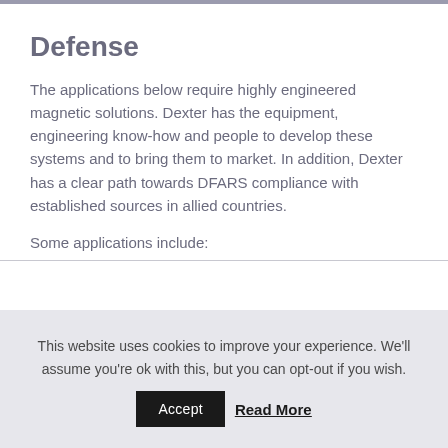Defense
The applications below require highly engineered magnetic solutions. Dexter has the equipment, engineering know-how and people to develop these systems and to bring them to market. In addition, Dexter has a clear path towards DFARS compliance with established sources in allied countries.
Some applications include:
This website uses cookies to improve your experience. We'll assume you're ok with this, but you can opt-out if you wish.
Accept   Read More